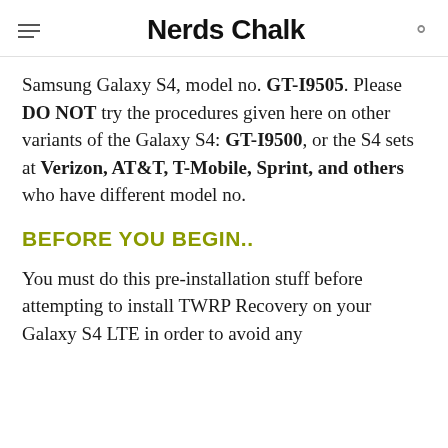Nerds Chalk
Samsung Galaxy S4, model no. GT-I9505. Please DO NOT try the procedures given here on other variants of the Galaxy S4: GT-I9500, or the S4 sets at Verizon, AT&T, T-Mobile, Sprint, and others who have different model no.
BEFORE YOU BEGIN..
You must do this pre-installation stuff before attempting to install TWRP Recovery on your Galaxy S4 LTE in order to avoid any